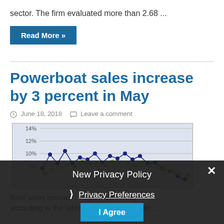sector. The firm evaluated more than 2.68 ...
Read More »
Powerboat sales increase by 3 percent in May
June 18, 2018  Leave a comment
[Figure (continuous-plot): Line chart showing percentage data over time with two series (dark blue and yellow-green dots), y-axis ranging approximately 8% to 14%]
Boat sales increas... percent in May, according to the latest Info-Link Bellwether ...
New Privacy Policy
› Privacy Preferences
I Agree